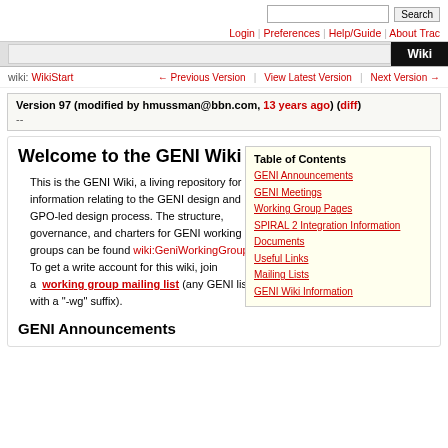Search [search box] | Login | Preferences | Help/Guide | About Trac | Wiki tab
wiki: WikiStart ← Previous Version | View Latest Version | Next Version →
Version 97 (modified by hmussman@bbn.com, 13 years ago) (diff)
--
Welcome to the GENI Wiki
| Table of Contents |
| --- |
| GENI Announcements |
| GENI Meetings |
| Working Group Pages |
| SPIRAL 2 Integration Information |
| Documents |
| Useful Links |
| Mailing Lists |
| GENI Wiki Information |
This is the GENI Wiki, a living repository for information relating to the GENI design and GPO-led design process. The structure, governance, and charters for GENI working groups can be found wiki:GeniWorkingGroups. To get a write account for this wiki, join a working group mailing list (any GENI list with a "-wg" suffix).
GENI Announcements